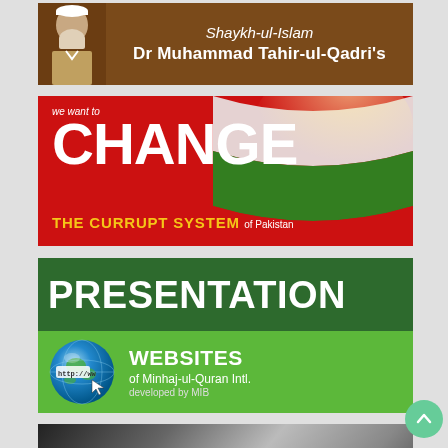[Figure (illustration): Brown banner with a bearded man in white cap on the left and text 'Shaykh-ul-Islam Dr Muhammad Tahir-ul-Qadri's' in white italic and bold on a brown background]
[Figure (illustration): Red banner with Pakistani flag motif and large white text 'we want to CHANGE THE CURRUPT SYSTEM of Pakistan' with yellow accent text]
[Figure (illustration): Green banner with large white text 'PRESENTATION' at top, lighter green lower section showing a globe/http icon and text 'WEBSITES of Minhaj-ul-Quran Intl. developed by MIB']
[Figure (illustration): Dark grey banner with 'ADVERTISE HERE' in grey metallic text on gradient background. A teal scroll-up button is visible at the right.]